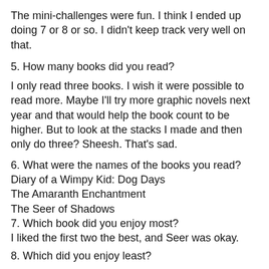The mini-challenges were fun. I think I ended up doing 7 or 8 or so. I didn't keep track very well on that.
5. How many books did you read?
I only read three books. I wish it were possible to read more. Maybe I'll try more graphic novels next year and that would help the book count to be higher. But to look at the stacks I made and then only do three? Sheesh. That's sad.
6. What were the names of the books you read?
Diary of a Wimpy Kid: Dog Days
The Amaranth Enchantment
The Seer of Shadows
7. Which book did you enjoy most?
I liked the first two the best, and Seer was okay.
8. Which did you enjoy least?
See previous answer!
9. If you were a Cheerleader, do you have any advice for next year's Cheerleaders?